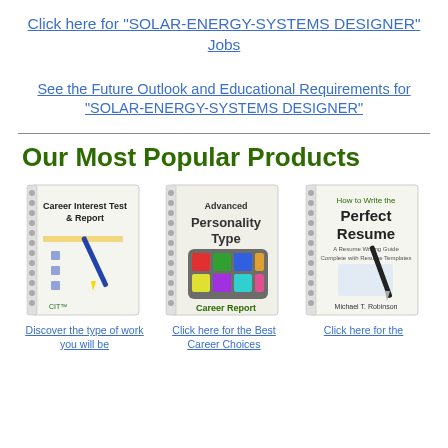Click here for "SOLAR-ENERGY-SYSTEMS DESIGNER" Jobs
See the Future Outlook and Educational Requirements for "SOLAR-ENERGY-SYSTEMS DESIGNER"
Our Most Popular Products
[Figure (photo): Book cover: Career Interest Test & Report]
Discover the type of work you will be
[Figure (photo): Book cover: Advanced Personality Type Career Report]
Click here for the Best Career Choices
[Figure (photo): Book cover: How to Write the Perfect Resume by Michael T. Robinson]
Click here for the